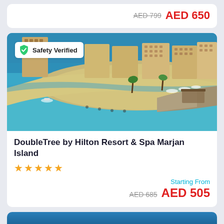AED 799  AED 650
[Figure (photo): Aerial view of DoubleTree by Hilton Resort & Spa Marjan Island showing beach, turquoise sea, and resort buildings. Safety Verified badge in top left.]
DoubleTree by Hilton Resort & Spa Marjan Island
★★★★★
Starting From
AED 685  AED 505